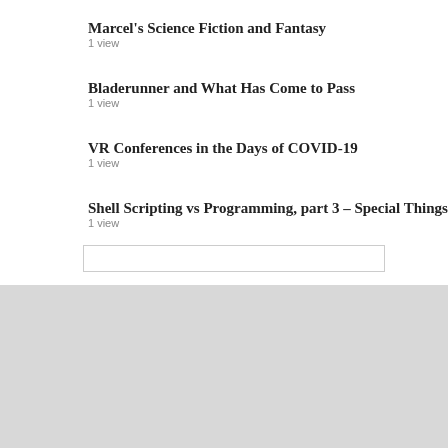Marcel's Science Fiction and Fantasy
1 view
Bladerunner and What Has Come to Pass
1 view
VR Conferences in the Days of COVID-19
1 view
Shell Scripting vs Programming, part 3 – Special Things
1 view
[Figure (screenshot): xterm terminal window showing shell commands: ls listing files (anotherfile, botton_secret_document, -one_more_file, -anotherfile, important_files, top_secret_document), rm anotherfile with error 'cannot remove anotherfile: No such file or directory', rm important_files with error 'cannot remove important_files: Is a directory', rmdir important_files with error 'rmdir: Failed to remove important_files: Directory not empty', mv -i top_secret_document botton_secret_document with prompt 'mv: overwrite botton_secret_document? n']